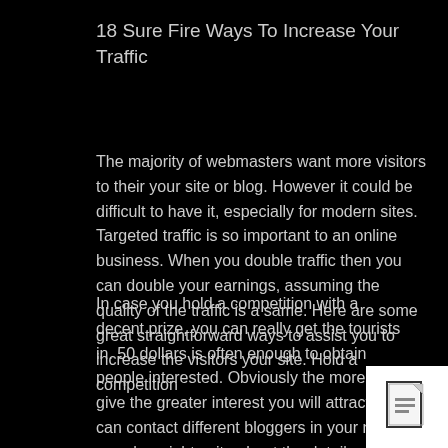18 Sure Fire Ways To Increase Your Traffic
The majority of webmasters want more visitors to their your site or blog. However it could be difficult to have it, especially for modern sites. Targeted traffic is so important to an online business. When you double traffic then you can double your earnings, assuming the quality of the traffic is a same. Here are some great straightforward ways to assist you to increase the visitors your site. Hold a competition
In case you hold a competition with a decent prize, you can really get the tourists in. 50 dollars is often enough to obtain people interested. Obviously the more you give the greater interest you will attract. You can contact different bloggers in your niche so, who might write about the details of your comp using their
[Figure (illustration): Small document/file icon shown in white box at bottom right corner]